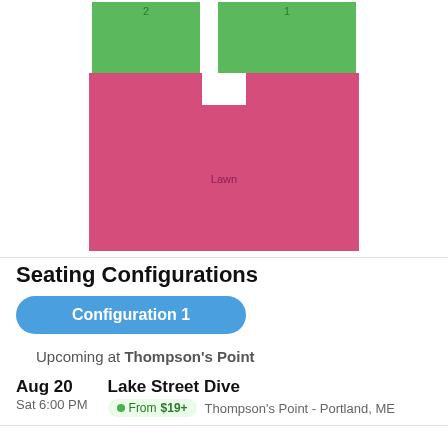[Figure (schematic): Venue seating map showing two green rectangular sections labeled '2' and '1' at top, and a large pink/magenta U-shaped section labeled 'Lawn' below.]
Seating Configurations
Configuration 1
Upcoming at Thompson's Point
Aug 20 Sat 6:00 PM - Lake Street Dive - From $19+ - Thompson's Point - Portland, ME